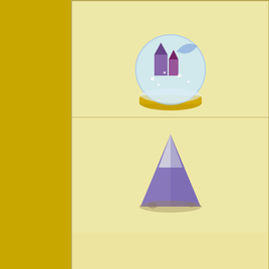[Figure (screenshot): Left gold/yellow sidebar panel]
[Figure (screenshot): Top right section showing game items: snow globe building, purple mountain, in a table with beige/tan background]
Holiday Donuts [edit]
| Image | Name |
| --- | --- |
| [Box of 12 Holiday Donuts image] | Box of 12 Holiday |
| [Tray of 132 Holiday Donuts image] | Tray of 132 Holiday |